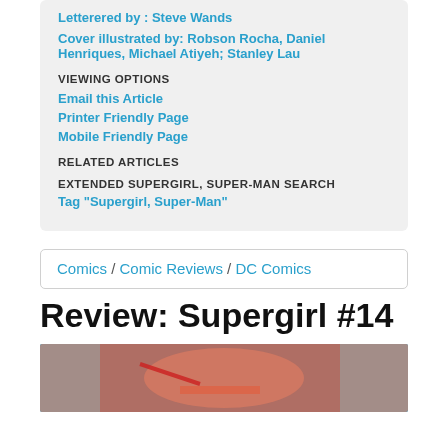Letterered by : Steve Wands
Cover illustrated by: Robson Rocha, Daniel Henriques, Michael Atiyeh; Stanley Lau
VIEWING OPTIONS
Email this Article
Printer Friendly Page
Mobile Friendly Page
RELATED ARTICLES
EXTENDED SUPERGIRL, SUPER-MAN SEARCH
Tag "Supergirl, Super-Man"
Comics / Comic Reviews / DC Comics
Review: Supergirl #14
[Figure (illustration): Comic book art showing Supergirl close-up face with blue costume and red/orange hair]